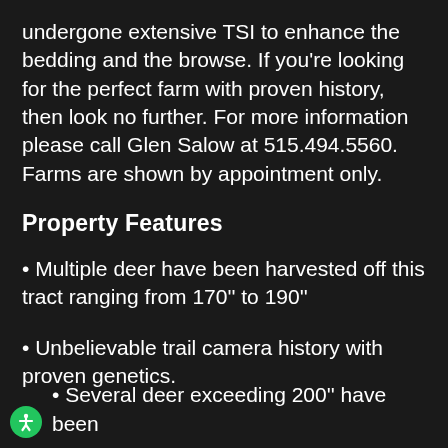undergone extensive TSI to enhance the bedding and the browse. If you're looking for the perfect farm with proven history, then look no further. For more information please call Glen Salow at 515.494.5560. Farms are shown by appointment only.
Property Features
• Multiple deer have been harvested off this tract ranging from 170'' to 190''
• Unbelievable trail camera history with proven genetics.
• Several deer exceeding 200'' have been